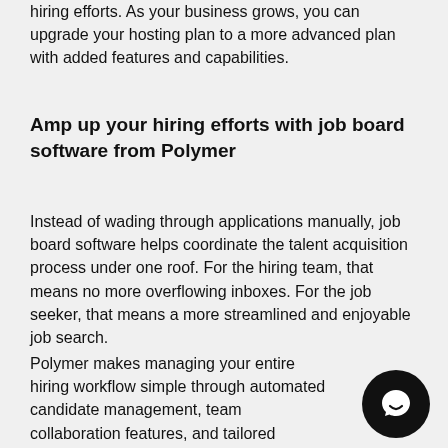hiring efforts. As your business grows, you can upgrade your hosting plan to a more advanced plan with added features and capabilities.
Amp up your hiring efforts with job board software from Polymer
Instead of wading through applications manually, job board software helps coordinate the talent acquisition process under one roof. For the hiring team, that means no more overflowing inboxes. For the job seeker, that means a more streamlined and enjoyable job search.
Polymer makes managing your entire hiring workflow simple through automated candidate management, team collaboration features, and tailored customizations. Create a job board platform that works for your current and future team.